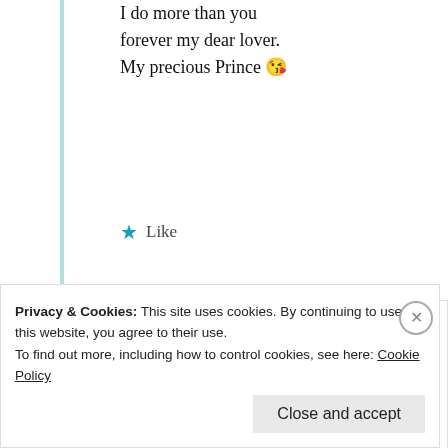I do more than you forever my dear lover. My precious Prince 😘
★ Like
[Figure (illustration): Round avatar icon with golden/dark yellow color and decorative star/compass pattern]
mildredprince welch
15th May 2021 at 5:28 pm
Privacy & Cookies: This site uses cookies. By continuing to use this website, you agree to their use. To find out more, including how to control cookies, see here: Cookie Policy
Close and accept